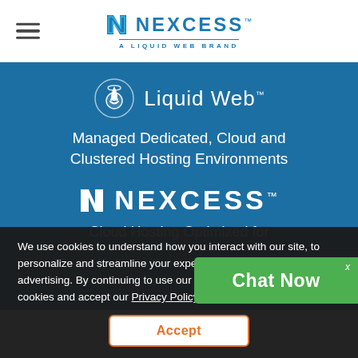[Figure (logo): Nexcess logo — N icon + NEXCESS wordmark + A LIQUID WEB BRAND tagline]
[Figure (logo): Liquid Web logo with orbital icon and wordmark on blue background]
Managed Dedicated, Cloud and Clustered Hosting Environments
[Figure (logo): Nexcess white logo on blue background]
Cloud Hosting Optimized for Digital Commerce
We use cookies to understand how you interact with our site, to personalize and streamline your experience, and to tailor advertising. By continuing to use our site, you accept our use of cookies and accept our Privacy Policy.
Accept